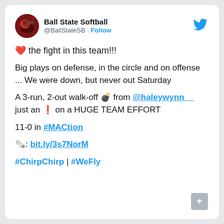Ball State Softball @BallStateSB · Follow
❤️ the fight in this team!!!
Big plays on defense, in the circle and on offense ... We were down, but never out Saturday
A 3-run, 2-out walk-off 💣 from @haleywynn__ just an ❗ on a HUGE TEAM EFFORT
11-0 in #MACtion
🗞️: bit.ly/3s7NorM
#ChirpChirp | #WeFly